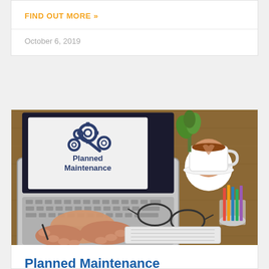FIND OUT MORE »
October 6, 2019
[Figure (photo): Person typing on a laptop with 'Planned Maintenance' text and gear icons on the screen, next to a desk with a coffee cup, plant, glasses, pencils, and notebook on a wooden surface.]
Planned Maintenance